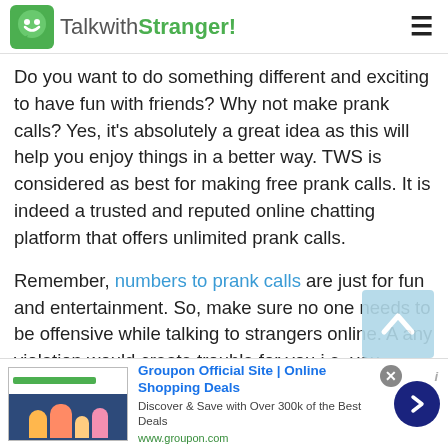TalkwithStranger!
Do you want to do something different and exciting to have fun with friends? Why not make prank calls? Yes, it's absolutely a great idea as this will help you enjoy things in a better way. TWS is considered as best for making free prank calls. It is indeed a trusted and reputed online chatting platform that offers unlimited prank calls.
Remember, numbers to prank calls are just for fun and entertainment. So, make sure no one needs to be offensive while talking to strangers online. A any violation would create trouble for you i.e. you
[Figure (screenshot): Groupon advertisement banner: Groupon Official Site | Online Shopping Deals. Discover & Save with Over 300k of the Best Deals. www.groupon.com]